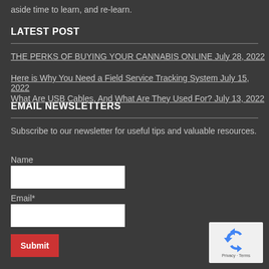aside time to learn, and re-learn.
LATEST POST
THE PERKS OF BUYING YOUR CANNABIS ONLINE  July 28, 2022
Here is Why You Need a Field Service Tracking System  July 15, 2022
What Are USB Cables, And What Are They Used For?  July 13, 2022
EMAIL NEWSLETTERS
Subscribe to our newsletter for useful tips and valuable resources.
Name
Email*
[Figure (other): reCAPTCHA widget showing the recycling arrows logo with Privacy and Terms links below]